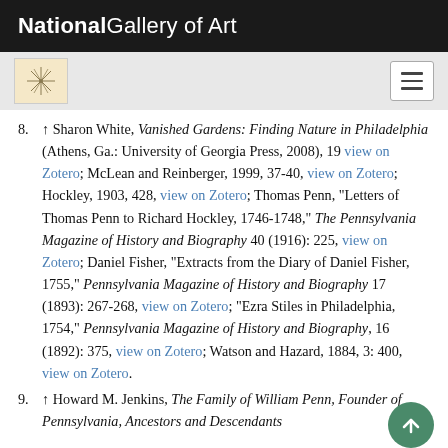National Gallery of Art
8. ↑ Sharon White, Vanished Gardens: Finding Nature in Philadelphia (Athens, Ga.: University of Georgia Press, 2008), 19 view on Zotero; McLean and Reinberger, 1999, 37-40, view on Zotero; Hockley, 1903, 428, view on Zotero; Thomas Penn, "Letters of Thomas Penn to Richard Hockley, 1746-1748," The Pennsylvania Magazine of History and Biography 40 (1916): 225, view on Zotero; Daniel Fisher, "Extracts from the Diary of Daniel Fisher, 1755," Pennsylvania Magazine of History and Biography 17 (1893): 267-268, view on Zotero; "Ezra Stiles in Philadelphia, 1754," Pennsylvania Magazine of History and Biography, 16 (1892): 375, view on Zotero; Watson and Hazard, 1884, 3: 400, view on Zotero.
9. ↑ Howard M. Jenkins, The Family of William Penn, Founder of Pennsylvania, Ancestors and Descendants